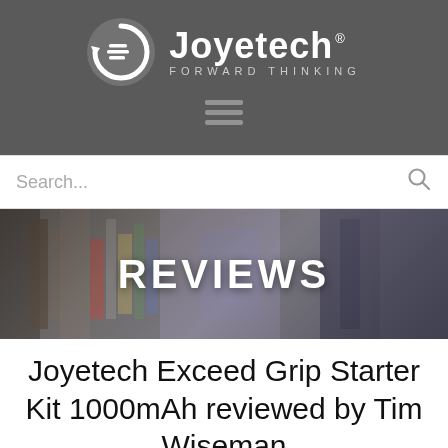[Figure (logo): Joyetech logo with circular arrow icon and text 'FORWARD THINKING' on dark gray background]
[Figure (screenshot): Search bar with placeholder text 'Search...' and magnifying glass icon]
[Figure (photo): Reviews banner with blurred vape shop products in background and bold white text 'REVIEWS']
Joyetech Exceed Grip Starter Kit 1000mAh reviewed by Tim Wiseman